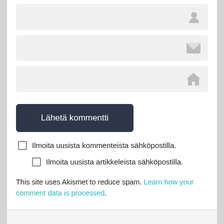[Figure (screenshot): Three form input fields with icons (user, email, home) on gray background]
Lähetä kommentti
Ilmoita uusista kommenteista sähköpostilla.
Ilmoita uusista artikkeleista sähköpostilla.
This site uses Akismet to reduce spam. Learn how your comment data is processed.